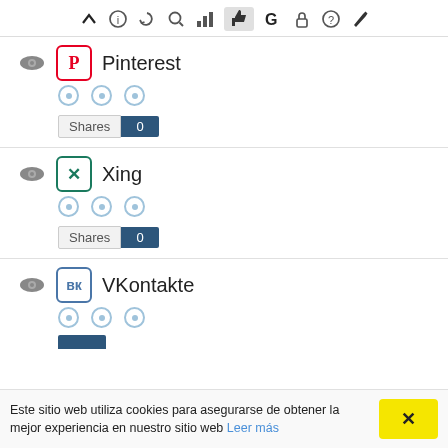[Figure (screenshot): Browser toolbar with icons: caret, info, refresh, search, chart, thumbs-up (highlighted), G, lock, help, edit]
Pinterest | Shares 0
Xing | Shares 0
VKontakte
Este sitio web utiliza cookies para asegurarse de obtener la mejor experiencia en nuestro sitio web Leer más  ×